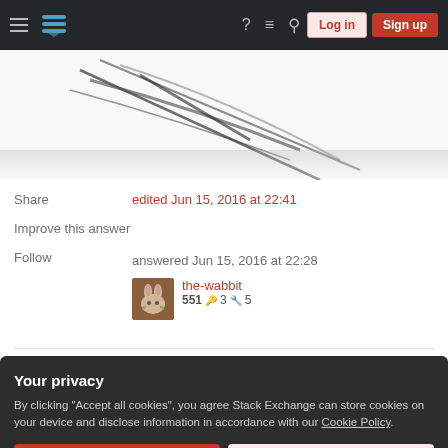Stack Exchange navigation bar with Log in and Sign up buttons
[Figure (photo): Partial image of glasses or wire instrument on white background]
Share
Improve this answer
Follow
edited Jun 15, 2016 at 22:41
answered Jun 15, 2016 at 22:28
the-wabbit
551 🔑3 🔧5
Your privacy
By clicking "Accept all cookies", you agree Stack Exchange can store cookies on your device and disclose information in accordance with our Cookie Policy.
Accept all cookies   Customize settings
predecessor to early tractors):